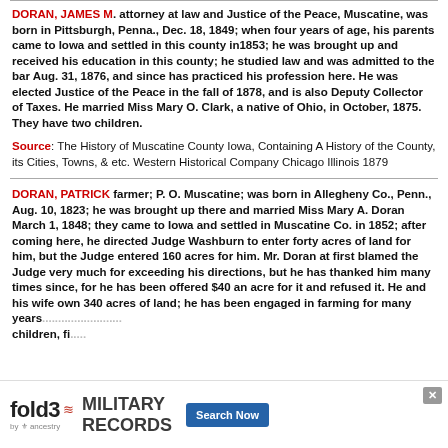DORAN, JAMES M. attorney at law and Justice of the Peace, Muscatine, was born in Pittsburgh, Penna., Dec. 18, 1849; when four years of age, his parents came to Iowa and settled in this county in1853; he was brought up and received his education in this county; he studied law and was admitted to the bar Aug. 31, 1876, and since has practiced his profession here. He was elected Justice of the Peace in the fall of 1878, and is also Deputy Collector of Taxes. He married Miss Mary O. Clark, a native of Ohio, in October, 1875. They have two children.
Source: The History of Muscatine County Iowa, Containing A History of the County, its Cities, Towns, & etc. Western Historical Company Chicago Illinois 1879
DORAN, PATRICK farmer; P. O. Muscatine; was born in Allegheny Co., Penn., Aug. 10, 1823; he was brought up there and married Miss Mary A. Doran March 1, 1848; they came to Iowa and settled in Muscatine Co. in 1852; after coming here, he directed Judge Washburn to enter forty acres of land for him, but the Judge entered 160 acres for him. Mr. Doran at first blamed the Judge very much for exceeding his directions, but he has thanked him many times since, for he has been offered $40 an acre for it and refused it. He and his wife own 340 acres of land; he has been engaged in farming for many years...
[Figure (other): Fold3 Military Records advertisement banner with Search Now button, partially overlapping body text.]